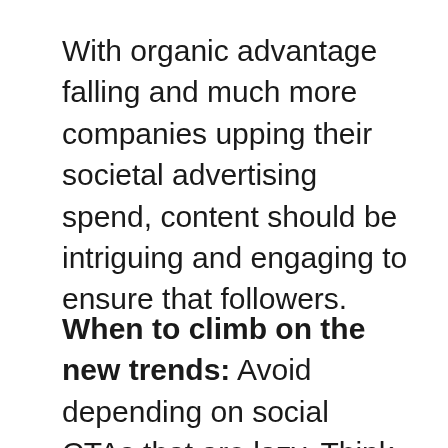With organic advantage falling and much more companies upping their societal advertising spend, content should be intriguing and engaging to ensure that followers.
When to climb on the new trends: Avoid depending on social CTAs that are lazy. Think